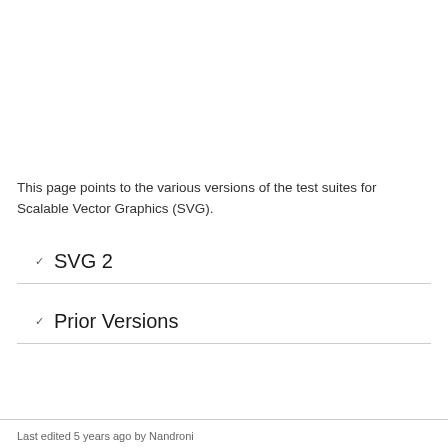This page points to the various versions of the test suites for Scalable Vector Graphics (SVG).
SVG 2
Prior Versions
Last edited 5 years ago by Nandroni